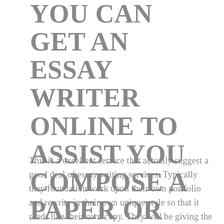YOU CAN GET AN ESSAY WRITER ONLINE TO ASSIST YOU COMPOSE A PAPER OR ARTICLE.
This is a excellent service that actually suggest a good deal of essay writing services. Typically they foundation work upon their own portfolio and rewrite in their own unique style so that it reads like their own copy. They will be giving the same